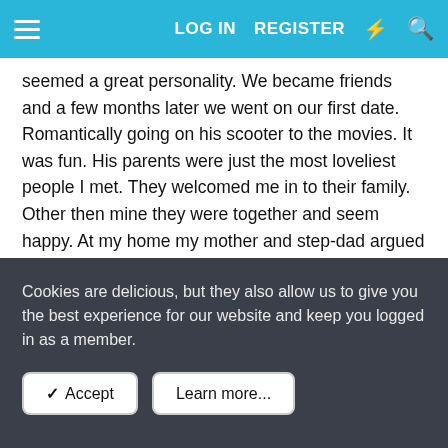LOG IN   REGISTER
seemed a great personality. We became friends and a few months later we went on our first date. Romantically going on his scooter to the movies. It was fun. His parents were just the most loveliest people I met. They welcomed me in to their family. Other then mine they were together and seem happy. At my home my mother and step-dad argued a lot and my brother just entered the worst puberty mood swings ever. So I was often at R. place. After a while I started to noticed we didn't really move on in our relationship (sexuelly). I tried to make my moves, but he wasn't really ready. So I waited. During our first months he became more involved in my life. As in he started to decide a friend was not good for me. His arguments sounded justified. She was a high school friend and since high school ended we didn't talk as much. So things ended slowly, with R.
Cookies are delicious, but they also allow us to give you the best experience for our website and keep you logged in as a member.